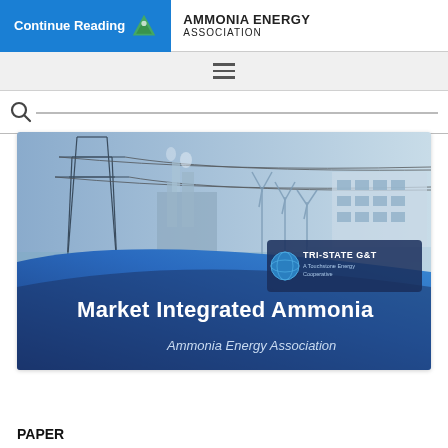Continue Reading | AMMONIA ENERGY ASSOCIATION
[Figure (illustration): Ammonia Energy Association website screenshot showing navigation banner with Continue Reading button and Ammonia Energy Association logo]
[Figure (illustration): Hamburger menu navigation bar on gray background]
[Figure (illustration): Search bar with magnifying glass icon]
[Figure (illustration): Presentation cover slide showing Market Integrated Ammonia by Ammonia Energy Association with Tri-State G&T logo, showing power lines, industrial facilities, wind turbines, and buildings on a blue background]
PAPER